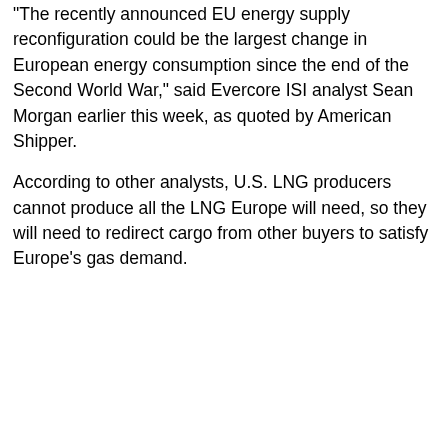"The recently announced EU energy supply reconfiguration could be the largest change in European energy consumption since the end of the Second World War," said Evercore ISI analyst Sean Morgan earlier this week, as quoted by American Shipper.
According to other analysts, U.S. LNG producers cannot produce all the LNG Europe will need, so they will need to redirect cargo from other buyers to satisfy Europe's gas demand.